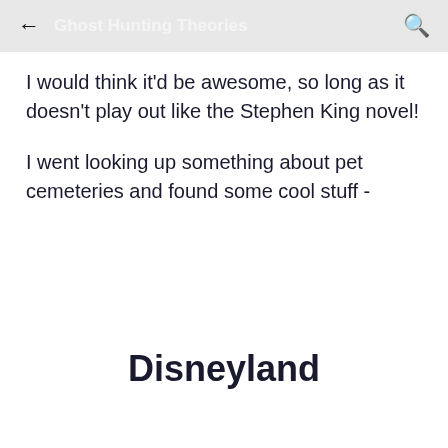Ghost Hunting Theories
I would think it'd be awesome, so long as it doesn't play out like the Stephen King novel!
I went looking up something about pet cemeteries and found some cool stuff -
Disneyland